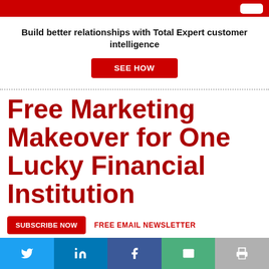Build better relationships with Total Expert customer intelligence
SEE HOW
Free Marketing Makeover for One Lucky Financial Institution
SUBSCRIBE NOW   FREE EMAIL NEWSLETTER
Subscribe Now!